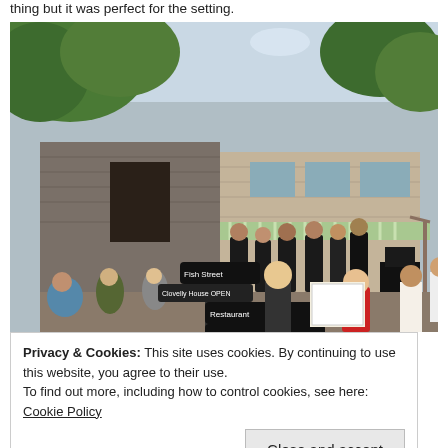thing but it was perfect for the setting.
[Figure (photo): Outdoor scene at a coastal village with stone buildings, a band performing on a balcony/terrace under a striped awning, street signs reading 'Fish Street', 'Restaurant Landrover', 'Clovelly House OPEN', people in the crowd watching.]
Privacy & Cookies: This site uses cookies. By continuing to use this website, you agree to their use.
To find out more, including how to control cookies, see here: Cookie Policy
Close and accept
special welcome from the brightly coloured lady lobsters